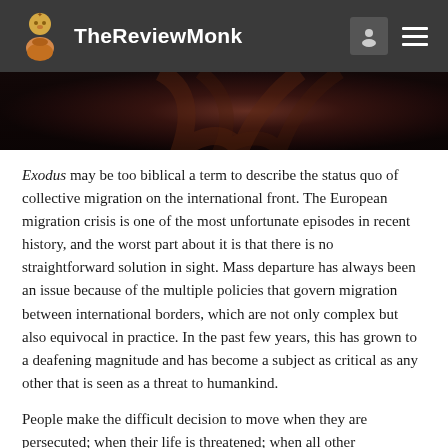TheReviewMonk
[Figure (photo): Dark photograph showing draped fabric or clothing, partially visible, with dark reddish-brown tones]
Exodus may be too biblical a term to describe the status quo of collective migration on the international front. The European migration crisis is one of the most unfortunate episodes in recent history, and the worst part about it is that there is no straightforward solution in sight. Mass departure has always been an issue because of the multiple policies that govern migration between international borders, which are not only complex but also equivocal in practice. In the past few years, this has grown to a deafening magnitude and has become a subject as critical as any other that is seen as a threat to humankind.
People make the difficult decision to move when they are persecuted; when their life is threatened; when all other